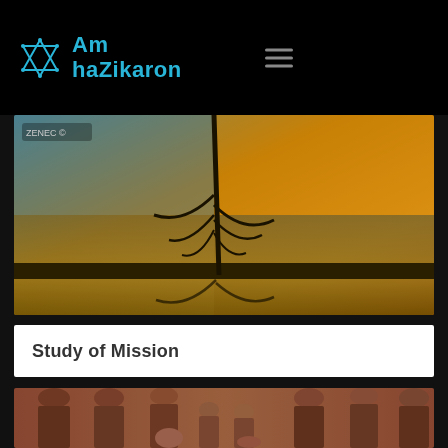Am haZikaron
[Figure (photo): Landscape photo showing a bare tree silhouetted against a golden sunset sky reflected in water]
Study of Mission
[Figure (photo): Sepia-toned historical group portrait showing multiple generations of a family]